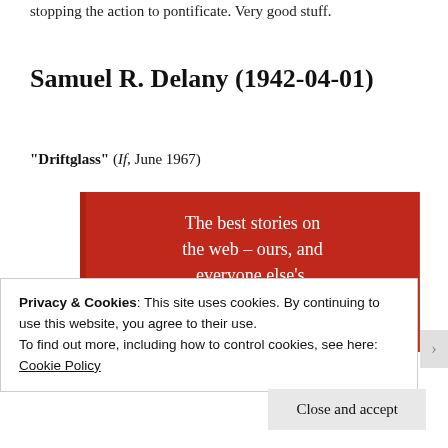stopping the action to pontificate. Very good stuff.
Samuel R. Delany (1942-04-01)
“Driftglass” (If, June 1967)
[Figure (other): Red advertisement banner with white serif text reading 'The best stories on the web – ours, and everyone else’s.' and a dark button labeled 'Start reading']
Privacy & Cookies: This site uses cookies. By continuing to use this website, you agree to their use.
To find out more, including how to control cookies, see here: Cookie Policy
Close and accept